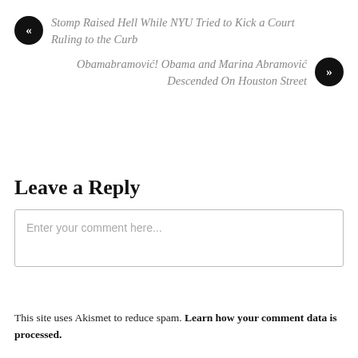« Stomp Raised Hell While NYU Tried to Kick a Court Ruling to the Curb
Obamabramović! Obama and Marina Abramović Descended On Houston Street »
Leave a Reply
Enter your comment here...
This site uses Akismet to reduce spam. Learn how your comment data is processed.